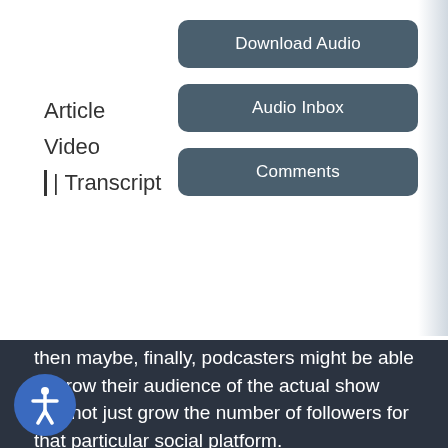Article
Video
| Transcript
Download Audio
Audio Inbox
Comments
then maybe, finally, podcasters might be able to grow their audience of the actual show and not just grow the number of followers for that particular social platform.
Maybe. That's the promise. But to me, rather than speculate too much about that, 'cause I love to speculate, I think it's - this is going to market big change in how we podcasters think about success. And when we start thinking about success differently, that will in turn change how make our podcast episodes to optimize for t success.